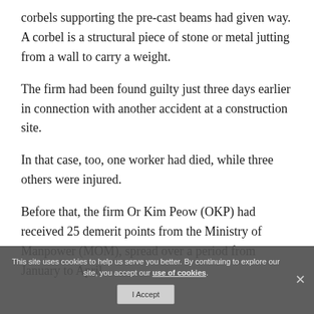corbels supporting the pre-cast beams had given way. A corbel is a structural piece of stone or metal jutting from a wall to carry a weight.
The firm had been found guilty just three days earlier in connection with another accident at a construction site.
In that case, too, one worker had died, while three others were injured.
Before that, the firm Or Kim Peow (OKP) had received 25 demerit points from the Ministry of Manpower (MOM), spread over a period from January to April.
This site uses cookies to help us serve you better. By continuing to explore our site, you accept our use of cookies.